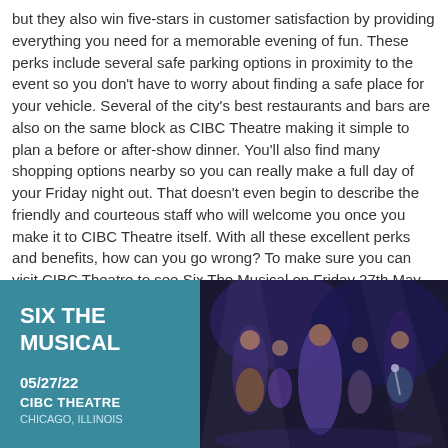but they also win five-stars in customer satisfaction by providing everything you need for a memorable evening of fun. These perks include several safe parking options in proximity to the event so you don't have to worry about finding a safe place for your vehicle. Several of the city's best restaurants and bars are also on the same block as CIBC Theatre making it simple to plan a before or after-show dinner. You'll also find many shopping options nearby so you can really make a full day of your Friday night out. That doesn't even begin to describe the friendly and courteous staff who will welcome you once you make it to CIBC Theatre itself. With all these excellent perks and benefits, how can you go wrong? To make sure you can visit CIBC Theatre to see Six The Musical on Friday 27th May 2022, click the Buy Tickets button below and buy your tickets today.
[Figure (infographic): Promotional banner for Six The Musical showing teal left panel with show title, date 05/27/22, and CIBC Theatre venue info, alongside a photo of performers on stage in colorful costumes.]